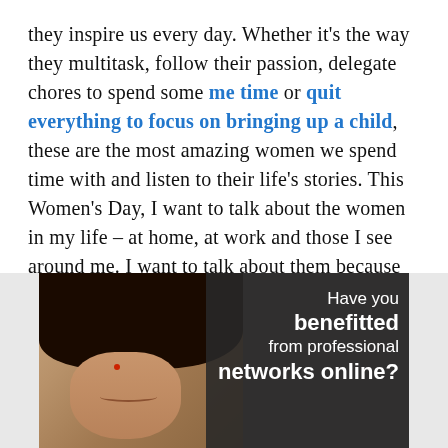they inspire us every day. Whether it's the way they multitask, follow their passion, delegate chores to spend some me time or quit everything to focus on bringing up a child, these are the most amazing women we spend time with and listen to their life's stories. This Women's Day, I want to talk about the women in my life – at home, at work and those I see around me. I want to talk about them because they signify strength and are a form of change agents of the society we live in. Those who don't wait for directions or help to fight their battles, but just get head on and emerge as winners.
[Figure (photo): Photo of an Indian woman with dark hair, wearing a bindi, smiling. Overlaid with dark panel on the right containing white text: 'Have you benefitted from professional networks online?']